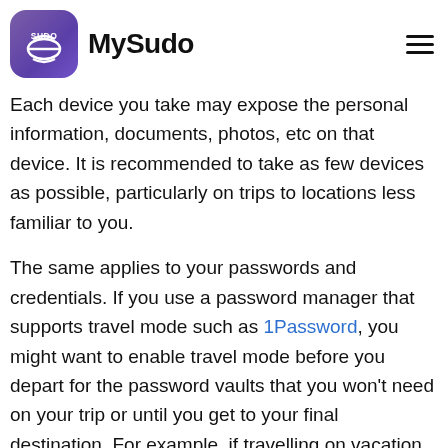MySudo
Each device you take may expose the personal information, documents, photos, etc on that device. It is recommended to take as few devices as possible, particularly on trips to locations less familiar to you.
The same applies to your passwords and credentials. If you use a password manager that supports travel mode such as 1Password, you might want to enable travel mode before you depart for the password vaults that you won't need on your trip or until you get to your final destination. For example, if travelling on vacation, you do really need the password vault containing credentials for your company's firewall or other security devices? Or if travelling for business, perhaps you enable travel mode while you are in